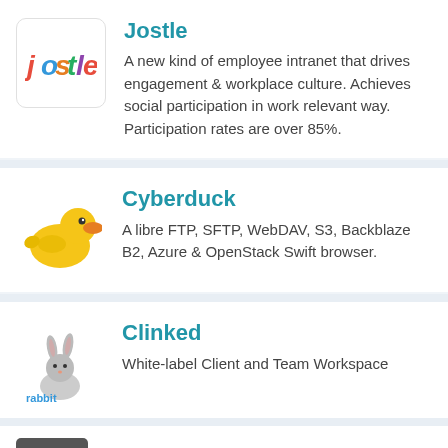[Figure (logo): Jostle company logo - colorful italic text 'jostle']
Jostle
A new kind of employee intranet that drives engagement & workplace culture. Achieves social participation in work relevant way. Participation rates are over 85%.
[Figure (logo): Cyberduck logo - yellow rubber duck illustration]
Cyberduck
A libre FTP, SFTP, WebDAV, S3, Backblaze B2, Azure & OpenStack Swift browser.
[Figure (logo): Clinked logo - rabbit illustration with text 'rabbit']
Clinked
White-label Client and Team Workspace